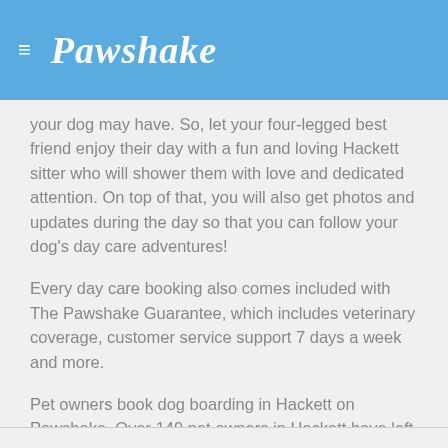≡ Pawshake
your dog may have. So, let your four-legged best friend enjoy their day with a fun and loving Hackett sitter who will shower them with love and dedicated attention. On top of that, you will also get photos and updates during the day so that you can follow your dog's day care adventures!
Every day care booking also comes included with The Pawshake Guarantee, which includes veterinary coverage, customer service support 7 days a week and more.
Pet owners book dog boarding in Hackett on Pawshake. Over 149 pet owners in Hackett have left a review, with an average of 4.91/5. All paid safely using Visa, Mastercard, American Express